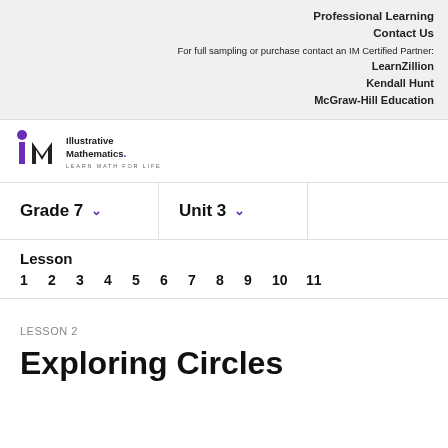Professional Learning
Contact Us
For full sampling or purchase contact an IM Certified Partner:
LearnZillion
Kendall Hunt
McGraw-Hill Education
[Figure (logo): Illustrative Mathematics logo with IM icon and text 'Illustrative Mathematics. LEARN MATH FOR LIFE']
Grade 7 ∨   Unit 3 ∨
Lesson
1  2  3  4  5  6  7  8  9  10  11
LESSON 2
Exploring Circles